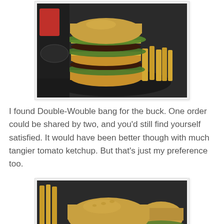[Figure (photo): A tall double burger with multiple beef patties and lettuce on a dark round plate, with a side of french fries, on a restaurant table.]
I found Double-Wouble bang for the buck. One order could be shared by two, and you'd still find yourself satisfied. It would have been better though with much tangier tomato ketchup. But that's just my preference too.
[Figure (photo): A single burger with bacon, lettuce, and cheese on a dark round plate, with french fries visible in the background, on a restaurant table.]